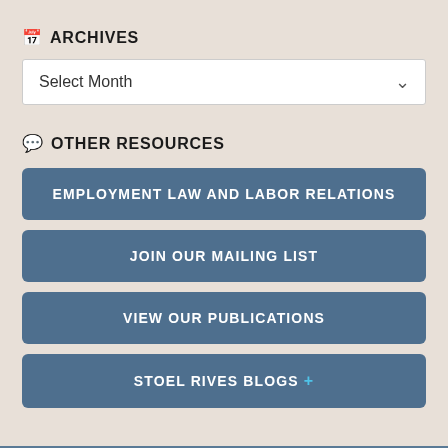ARCHIVES
Select Month
OTHER RESOURCES
EMPLOYMENT LAW AND LABOR RELATIONS
JOIN OUR MAILING LIST
VIEW OUR PUBLICATIONS
STOEL RIVES BLOGS +
World of Employment